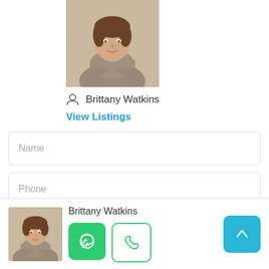[Figure (photo): Professional headshot of a woman named Brittany Watkins in a grey blazer with arms crossed]
Brittany Watkins
View Listings
Name
Phone
Email
Hello, I am interested in [Renovated kitchen
[Figure (photo): Small thumbnail photo of Brittany Watkins]
Brittany Watkins